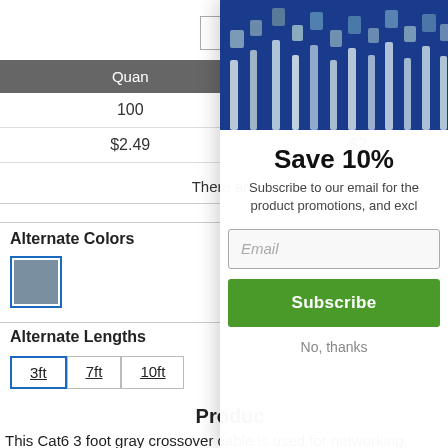| Quantity |  |
| --- | --- |
| 100 | 2... |
| $2.49 | $2... |
There ar...
Alternate Colors
[Figure (other): Gray color swatch with blue border]
Alternate Lengths
3ft  7ft  10ft
Product Description
This Cat6 3 foot gray crossover cable is used for networking,
[Figure (photo): Email subscription modal overlay with networking cable image, Save 10% headline, email input, Subscribe button, No thanks link]